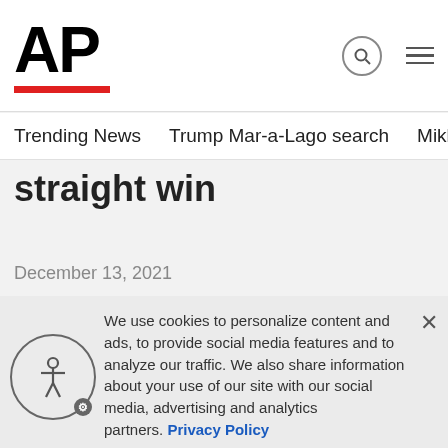AP
Trending News   Trump Mar-a-Lago search   Mikhail Gorbachev d
straight win
December 13, 2021
We use cookies to personalize content and ads, to provide social media features and to analyze our traffic. We also share information about your use of our site with our social media, advertising and analytics partners. Privacy Policy